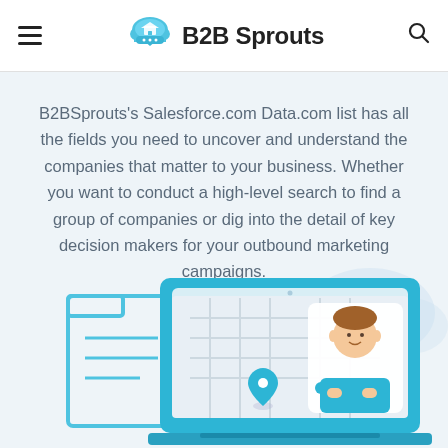B2B Sprouts
B2BSprouts's Salesforce.com Data.com list has all the fields you need to uncover and understand the companies that matter to your business. Whether you want to conduct a high-level search to find a group of companies or dig into the detail of key decision makers for your outbound marketing campaigns.
[Figure (illustration): Illustration of a laptop showing a map with a location pin and a cartoon character of a man in a blue shirt with arms crossed, alongside a document/folder icon on the left, all on a light blue background.]